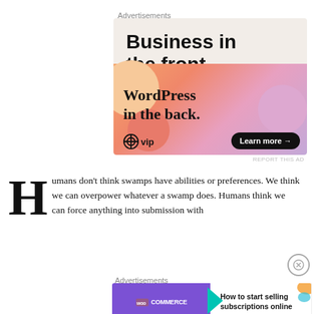Advertisements
[Figure (illustration): WordPress VIP advertisement banner. Top section on light beige background with bold text 'Business in the front...'. Bottom section has orange-to-purple gradient background with serif text 'WordPress in the back.' and WordPress VIP logo with 'Learn more →' button.]
REPORT THIS AD
Humans don't think swamps have abilities or preferences. We think we can overpower whatever a swamp does. Humans think we can force anything into submission with
Advertisements
[Figure (illustration): WooCommerce advertisement banner. Purple left section with WooCommerce logo and teal arrow. White right section with text 'How to start selling subscriptions online'. Orange decorative shapes in top right corner.]